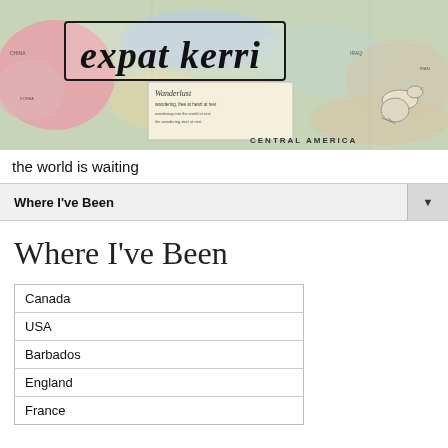[Figure (photo): Website header banner showing a colorful world map background with 'expat kerri' cursive logo text in a bordered box, a newspaper clipping scrap, bird illustration, and 'CENTRAL AMERICA' label visible on the map.]
the world is waiting
Where I've Been
Where I've Been
| Canada |
| USA |
| Barbados |
| England |
| France |